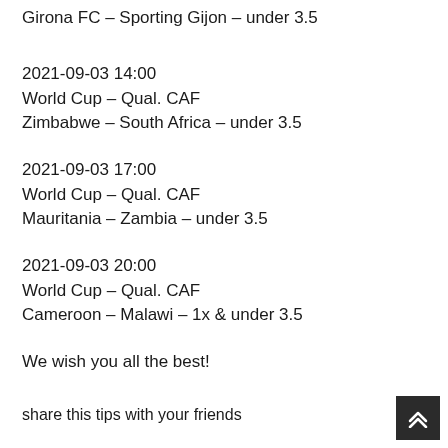Girona FC – Sporting Gijon – under 3.5
2021-09-03 14:00
World Cup – Qual. CAF
Zimbabwe – South Africa – under 3.5
2021-09-03 17:00
World Cup – Qual. CAF
Mauritania – Zambia – under 3.5
2021-09-03 20:00
World Cup – Qual. CAF
Cameroon – Malawi – 1x & under 3.5
We wish you all the best!
share this tips with your friends